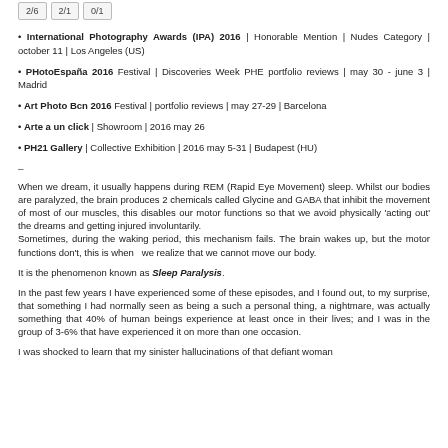International Photography Awards (IPA) 2016 | Honorable Mention | Nudes Category | october 11 | Los Angeles (US)
PHotoEspaña 2016 Festival | Discoveries Week PHE portfolio reviews | may 30 - june 3 | Madrid
Art Photo Bcn 2016 Festival | portfolio reviews | may 27-29 | Barcelona
Arte a un click | Showroom | 2016 may 26
PH21 Gallery | Collective Exhibition | 2016 may 5-31 | Budapest (HU)
–
When we dream, it usually happens during REM (Rapid Eye Movement) sleep. Whilst our bodies are paralyzed, the brain produces 2 chemicals called Glycine and GABA that inhibit the movement of most of our muscles, this disables our motor functions so that we avoid physically 'acting out' the dreams and getting injured involuntarily.
Sometimes, during the waking period, this mechanism fails. The brain wakes up, but the motor functions don't, this is when  we realize that we cannot move our body.
It is the phenomenon known as Sleep Paralysis.
In the past few years I have experienced some of these episodes, and I found out, to my surprise, that something I had normally seen as being a such a personal thing, a nightmare, was actually something that 40% of human beings experience at least once in their lives; and I was in the group of 3-6% that have experienced it on more than one occasion.
I was shocked to learn that my sinister hallucinations of that defiant woman